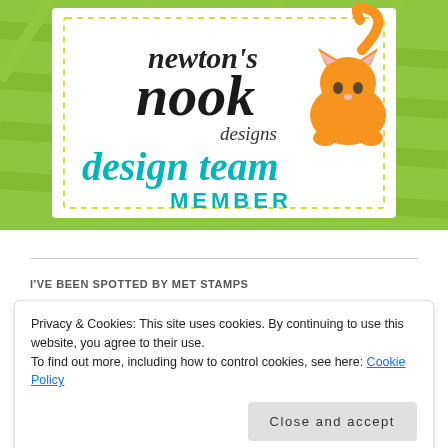[Figure (logo): Newton's Nook Designs design team member badge. Green leaf-pattern background with white inset card, dashed border. Logo text 'newton's nook designs' in black script with a cute orange cat illustration. Below: 'design team' in teal cursive script and 'MEMBER' in teal uppercase block letters.]
I'VE BEEN SPOTTED BY MET STAMPS
Privacy & Cookies: This site uses cookies. By continuing to use this website, you agree to their use.
To find out more, including how to control cookies, see here: Cookie Policy